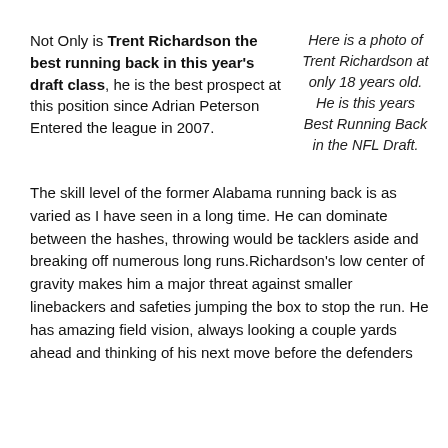Not Only is Trent Richardson the best running back in this year's draft class, he is the best prospect at this position since Adrian Peterson Entered the league in 2007.
Here is a photo of Trent Richardson at only 18 years old. He is this years Best Running Back in the NFL Draft.
The skill level of the former Alabama running back is as varied as I have seen in a long time. He can dominate between the hashes, throwing would be tacklers aside and breaking off numerous long runs.Richardson's low center of gravity makes him a major threat against smaller linebackers and safeties jumping the box to stop the run. He has amazing field vision, always looking a couple yards ahead and thinking of his next move before the defenders